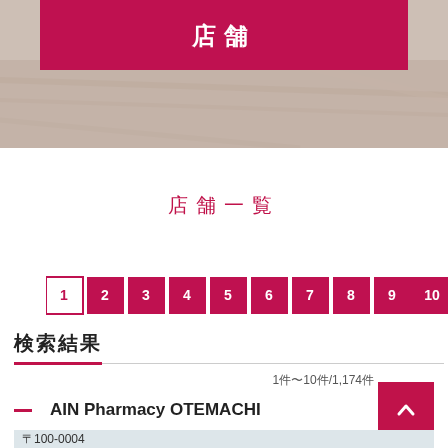[Figure (photo): Hero banner with crimson/pink header box containing Japanese characters, overlaid on a light beige/wood-toned background image]
店舗一覧
[Figure (infographic): Pagination bar with numbered buttons 1-10 plus next arrow, button 1 is active (white with crimson border), buttons 2-10 are filled crimson with white numbers]
検索結果
1件〜10件/1,174件
AIN Pharmacy OTEMACHI
〒100-0004